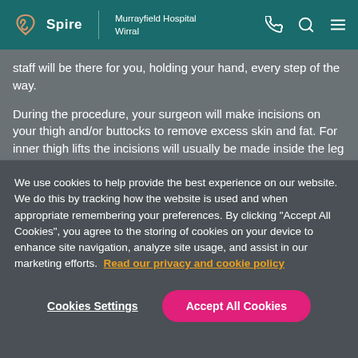Spire | Murrayfield Hospital Wirral
staff will be there for you, holding your hand, every step of the way.
During the procedure, your surgeon will make incisions on your thigh and/or buttocks to remove excess skin and fat. For inner thigh lifts the incisions will usually be made inside the leg but for outer thigh and buttock work, they
We use cookies to help provide the best experience on our website. We do this by tracking how the website is used and when appropriate remembering your preferences. By clicking "Accept All Cookies", you agree to the storing of cookies on your device to enhance site navigation, analyze site usage, and assist in our marketing efforts. Read our privacy and cookie policy
Cookies Settings
Accept All Cookies